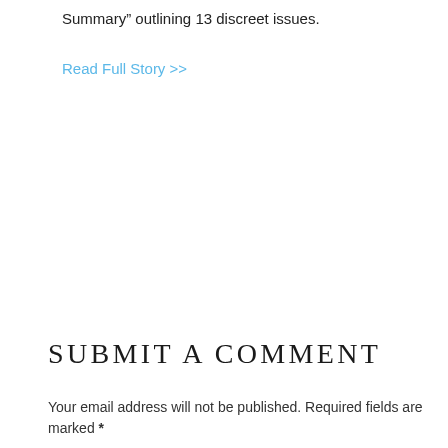Summary” outlining 13 discreet issues.
Read Full Story >>
SUBMIT A COMMENT
Your email address will not be published. Required fields are marked *